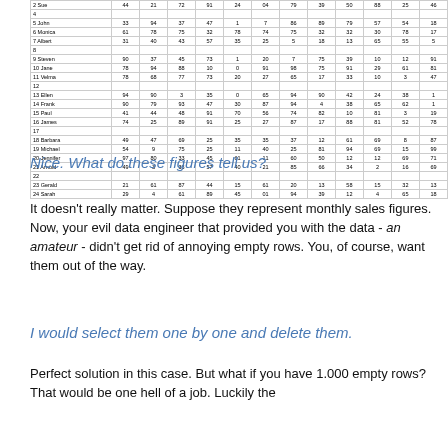|  | col1 | col2 | col3 | col4 | col5 | col6 | col7 | col8 | col9 | col10 | col11 | col12 |
| --- | --- | --- | --- | --- | --- | --- | --- | --- | --- | --- | --- | --- |
| 2 Sue | 44 | 21 | 72 | 91 | 24 | 04 | 79 | 39 | 50 | 88 | 25 | 46 |
| 4 |  |  |  |  |  |  |  |  |  |  |  |  |
| 5 John | 33 | 94 | 37 | 47 | 1 | 7 | 86 | 89 | 79 | 57 | 54 | 18 |
| 6 Monica | 61 | 78 | 75 | 32 | 78 | 74 | 75 | 32 | 32 | 30 | 78 | 17 |
| 7 Albert | 31 | 40 | 43 | 57 | 35 | 25 | 5 | 18 | 13 | 65 | 55 | 5 |
| 8 |  |  |  |  |  |  |  |  |  |  |  |  |
| 9 Steven | 90 | 37 | 45 | 73 | 1 | 20 | 7 | 75 | 39 | 10 | 12 | 91 |
| 10 Jane | 78 | 94 | 88 | 10 | 0 | 91 | 98 | 75 | 91 | 29 | 61 | 81 |
| 11 Velma | 78 | 68 | 77 | 73 | 20 | 27 | 65 | 17 | 33 | 10 | 3 | 47 |
| 12 |  |  |  |  |  |  |  |  |  |  |  |  |
| 13 Ellen | 94 | 90 | 3 | 35 | 0 | 65 | 94 | 90 | 42 | 24 | 38 | 1 |
| 14 Frank | 90 | 79 | 93 | 47 | 30 | 87 | 94 | 4 | 38 | 65 | 62 | 1 |
| 15 Paul | 41 | 44 | 48 | 91 | 70 | 56 | 74 | 82 | 10 | 81 | 3 | 19 |
| 16 James | 74 | 25 | 89 | 91 | 25 | 27 | 87 | 17 | 88 | 81 | 52 | 78 |
| 17 |  |  |  |  |  |  |  |  |  |  |  |  |
| 18 Barbara | 49 | 47 | 69 | 25 | 35 | 35 | 37 | 12 | 61 | 69 | 8 | 87 |
| 19 Michael | 54 | 9 | 75 | 25 | 11 | 40 | 25 | 81 | 94 | 69 | 15 | 99 |
| 20 Jennifer | 97 | 80 | 33 | 45 | 61 | 11 | 60 | 50 | 12 | 12 | 69 | 71 |
| 21 Arnold | 49 | 3 | 33 | 57 | 40 | 21 | 85 | 66 | 34 | 2 | 16 | 69 |
| 22 |  |  |  |  |  |  |  |  |  |  |  |  |
| 23 Gerald | 21 | 61 | 87 | 44 | 15 | 61 | 20 | 13 | 58 | 15 | 32 | 13 |
| 24 Sarah | 29 | 4 | 61 | 89 | 45 | 01 | 94 | 39 | 12 | 4 | 65 | 18 |
Nice. What do these figures tell us?
It doesn't really matter. Suppose they represent monthly sales figures. Now, your evil data engineer that provided you with the data - an amateur - didn't get rid of annoying empty rows. You, of course, want them out of the way.
I would select them one by one and delete them.
Perfect solution in this case. But what if you have 1.000 empty rows? That would be one hell of a job. Luckily the